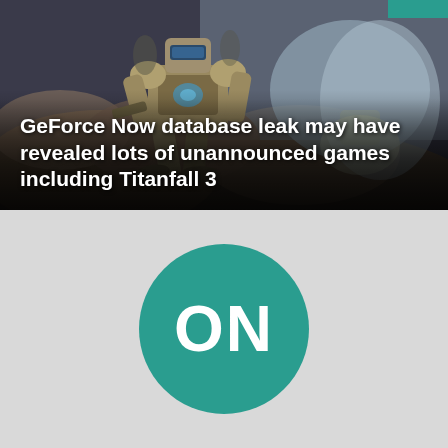[Figure (photo): A gaming screenshot or promotional art showing a large mech robot (titan) in combat, set against a sci-fi battlefield background with explosions and atmospheric effects. The image is from Titanfall game series.]
GeForce Now database leak may have revealed lots of unannounced games including Titanfall 3
[Figure (logo): A circular teal/green logo with the text 'ON' in large white bold letters on a light gray background.]